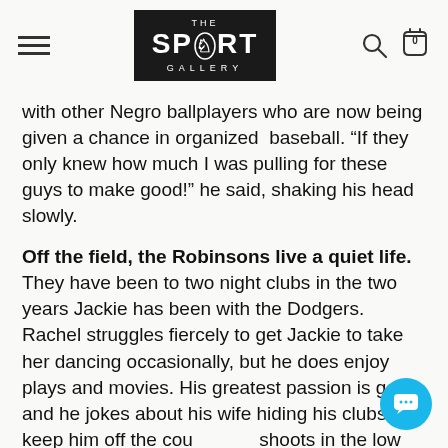THE SPORT GALLERY
with other Negro ballplayers who are now being given a chance in organized baseball. “If they only knew how much I was pulling for these guys to make good!” he said, shaking his head slowly.
Off the field, the Robinsons live a quiet life. They have been to two night clubs in the two years Jackie has been with the Dodgers. Rachel struggles fiercely to get Jackie to take her dancing occasionally, but he does enjoy plays and movies. His greatest passion is golf, and he jokes about his wife hiding his clubs to keep him off the course. He shoots in the low 80’s, which he doesn’t seem to think is very newsworthy.